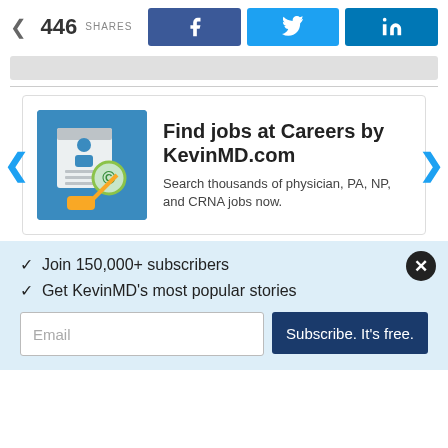446 SHARES
[Figure (infographic): Social share buttons: Facebook (blue), Twitter (light blue), LinkedIn (dark blue)]
[Figure (infographic): Gray loading/ad bar]
[Figure (infographic): Ad card: Find jobs at Careers by KevinMD.com - Search thousands of physician, PA, NP, and CRNA jobs now. With navigation arrows left and right.]
Find jobs at Careers by KevinMD.com
Search thousands of physician, PA, NP, and CRNA jobs now.
✓  Join 150,000+ subscribers
✓  Get KevinMD's most popular stories
Email | Subscribe. It's free.